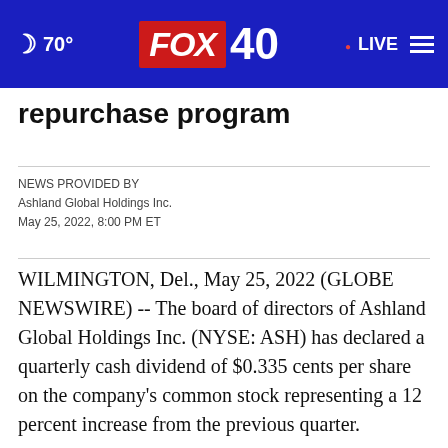[Figure (logo): FOX 40 news website header bar with moon icon, 70° temperature, FOX 40 logo in red box, LIVE indicator, and hamburger menu]
repurchase program
NEWS PROVIDED BY
Ashland Global Holdings Inc.
May 25, 2022, 8:00 PM ET
WILMINGTON, Del., May 25, 2022 (GLOBE NEWSWIRE) -- The board of directors of Ashland Global Holdings Inc. (NYSE: ASH) has declared a quarterly cash dividend of $0.335 cents per share on the company's common stock representing a 12 percent increase from the previous quarter.